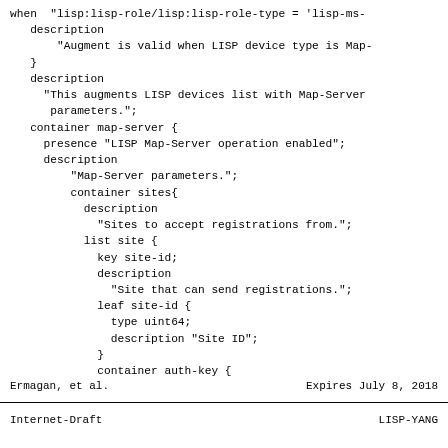when "lisp:lisp-role/lisp:lisp-role-type = 'lisp-ms-
    description
        "Augment is valid when LISP device type is Map-
    }
    description
      "This augments LISP devices list with Map-Server
       parameters.";
    container map-server {
      presence "LISP Map-Server operation enabled";
      description
          "Map-Server parameters.";
          container sites{
            description
              "Sites to accept registrations from.";
            list site {
              key site-id;
              description
                "Site that can send registrations.";
              leaf site-id {
                type uint64;
                description "Site ID";
              }
              container auth-key {
Ermagan, et al.                Expires July 8, 2018
Internet-Draft                      LISP-YANG